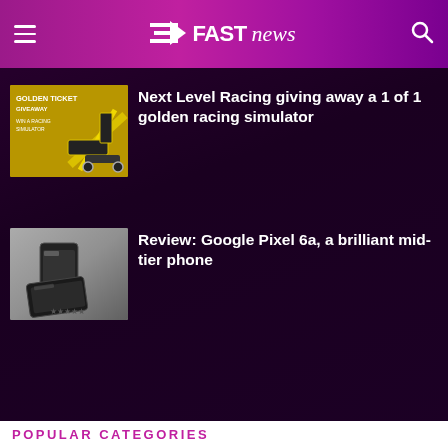FAST news
[Figure (photo): Thumbnail image of a golden racing simulator rig on yellow background with text 'Golden Ticket Giveaway']
Next Level Racing giving away a 1 of 1 golden racing simulator
[Figure (photo): Thumbnail image of a Google Pixel 6a smartphone on gray surface]
Review: Google Pixel 6a, a brilliant mid-tier phone
POPULAR CATEGORIES